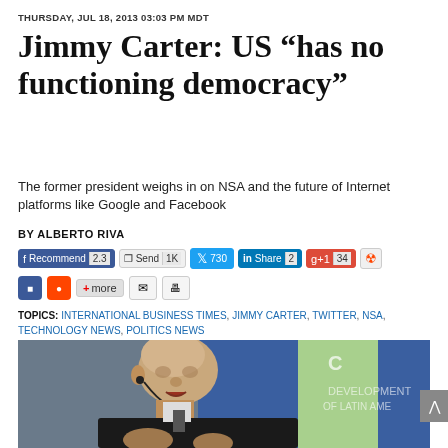THURSDAY, JUL 18, 2013 03:03 PM MDT
Jimmy Carter: US “has no functioning democracy”
The former president weighs in on NSA and the future of Internet platforms like Google and Facebook
BY ALBERTO RIVA
Social sharing buttons: Recommend 2.3, Send 1K, Twitter 730, LinkedIn Share 2, G+1 34, Reddit, plus more sharing options
TOPICS: INTERNATIONAL BUSINESS TIMES, JIMMY CARTER, TWITTER, NSA, TECHNOLOGY NEWS, POLITICS NEWS
[Figure (photo): Photo of Jimmy Carter speaking at a podium with a microphone, wearing a dark suit and tie, with a blue and white banner in the background]